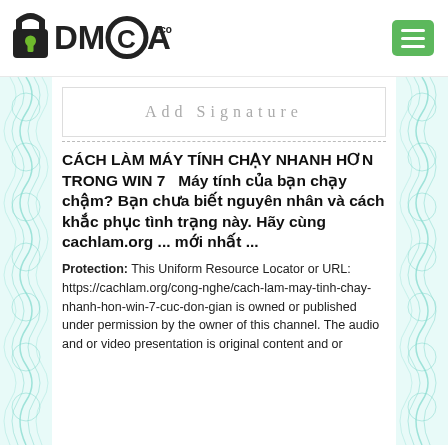[Figure (logo): DMCA.com logo with padlock icon]
Add Signature
CÁCH LÀM MÁY TÍNH CHẠY NHANH HƠN TRONG WIN 7  Máy tính của bạn chạy chậm? Bạn chưa biết nguyên nhân và cách khắc phục tình trạng này. Hãy cùng cachlam.org ... mới nhất ...
Protection: This Uniform Resource Locator or URL: https://cachlam.org/cong-nghe/cach-lam-may-tinh-chay-nhanh-hon-win-7-cuc-don-gian is owned or published under permission by the owner of this channel. The audio and or video presentation is original content and or